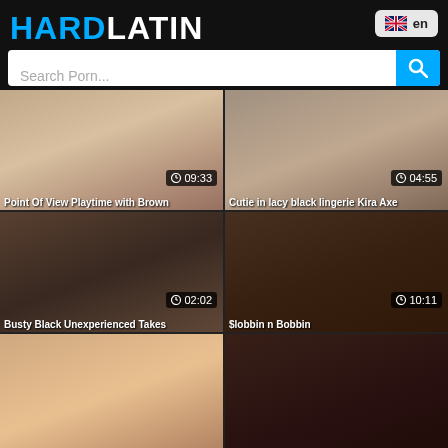HARDLATIN
Search Porn...
[Figure (screenshot): Video thumbnail: Point Of View Playtime with Brown, duration 09:33]
Point Of View Playtime with Brown
[Figure (screenshot): Video thumbnail: Cutie in lacy black lingerie Kira Axe, duration 04:55]
Cutie in lacy black lingerie Kira Axe
[Figure (screenshot): Video thumbnail: Busty Black Unexperienced Takes, duration 02:02]
Busty Black Unexperienced Takes
[Figure (screenshot): Video thumbnail: $lobbin n Bobbin, duration 10:11]
$lobbin n Bobbin
[Figure (photo): Video thumbnail: blonde woman (partially visible)]
[Figure (photo): Video thumbnail: dark-haired woman (partially visible)]